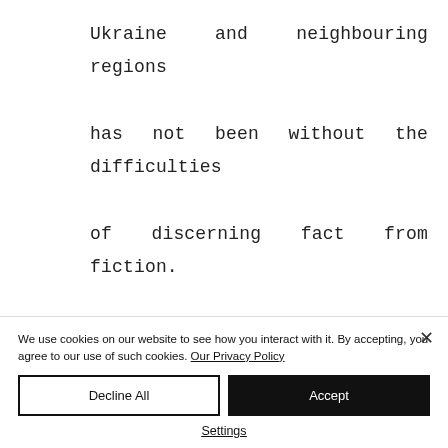Ukraine and neighbouring regions has not been without the difficulties of discerning fact from fiction.

The information space has been subject to volumes of targeting by
We use cookies on our website to see how you interact with it. By accepting, you agree to our use of such cookies. Our Privacy Policy
Decline All
Accept
Settings